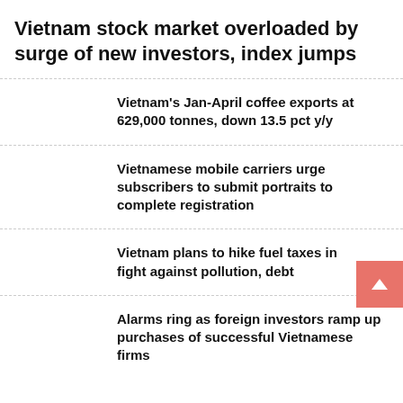Vietnam stock market overloaded by surge of new investors, index jumps
Vietnam's Jan-April coffee exports at 629,000 tonnes, down 13.5 pct y/y
Vietnamese mobile carriers urge subscribers to submit portraits to complete registration
Vietnam plans to hike fuel taxes in fight against pollution, debt
Alarms ring as foreign investors ramp up purchases of successful Vietnamese firms